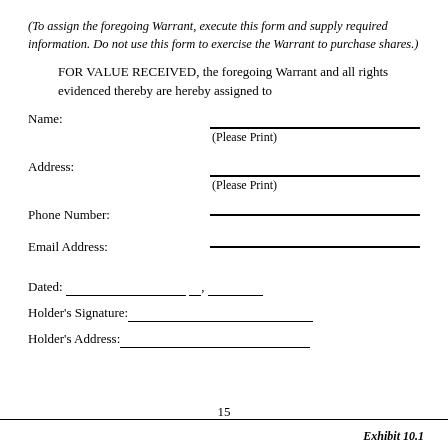(To assign the foregoing Warrant, execute this form and supply required information. Do not use this form to exercise the Warrant to purchase shares.)
FOR VALUE RECEIVED, the foregoing Warrant and all rights evidenced thereby are hereby assigned to
Name:
(Please Print)
Address:
(Please Print)
Phone Number:
Email Address:
Dated: __________________ __, ________
Holder's Signature:____________________________
Holder's Address:____________________________
15
Exhibit 10.1